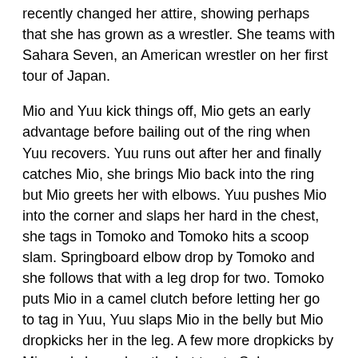recently changed her attire, showing perhaps that she has grown as a wrestler. She teams with Sahara Seven, an American wrestler on her first tour of Japan.
Mio and Yuu kick things off, Mio gets an early advantage before bailing out of the ring when Yuu recovers. Yuu runs out after her and finally catches Mio, she brings Mio back into the ring but Mio greets her with elbows. Yuu pushes Mio into the corner and slaps her hard in the chest, she tags in Tomoko and Tomoko hits a scoop slam. Springboard elbow drop by Tomoko and she follows that with a leg drop for two. Tomoko puts Mio in a camel clutch before letting her go to tag in Yuu, Yuu slaps Mio in the belly but Mio dropkicks her in the leg. A few more dropkicks by Mio and she makes the hot tag to Sahara, Sahara and Yuu trade chops until Sahara rams Yuu's head into her knees. Mio runs in and dropkicks Yuu, running hip attack by Sahara but Yuu tosses her down and hits a footstomp. She tags Tomoko but Mio re-enters the ring, Mio and Sahara try to kick Tomoko but she doesn't budge. Mio dropkicks Tomoko off her feet, Sahara drives Tomoko's head into the mat with her leg, but the cover is broken